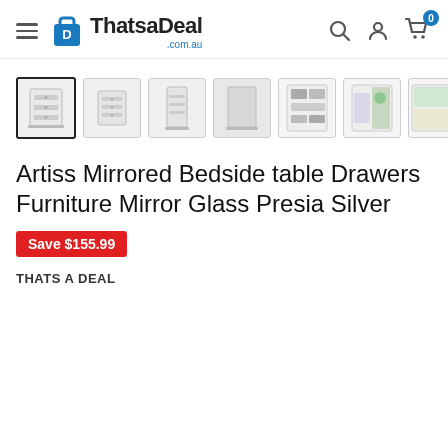ThatsaDeal.com.au
[Figure (photo): Row of 7 product thumbnail images of a mirrored bedside table from different angles. First thumbnail is selected with a bold border.]
Artiss Mirrored Bedside table Drawers Furniture Mirror Glass Presia Silver
Save $155.99
THATS A DEAL